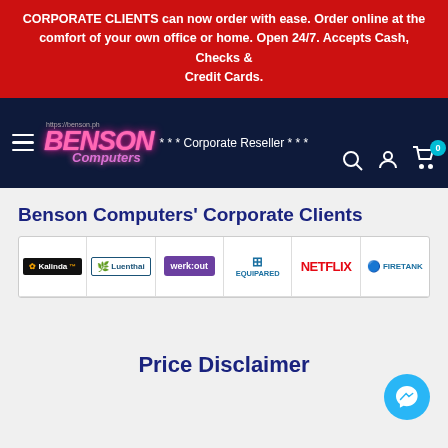CORPORATE CLIENTS can now order with ease. Order online at the comfort of your own office or home. Open 24/7. Accepts Cash, Checks & Credit Cards.
[Figure (logo): Benson Computers navigation bar with hamburger menu, neon-style logo, '*** Corporate Reseller ***' text, search icon, user icon, and cart icon with badge 0]
Benson Computers' Corporate Clients
[Figure (infographic): Row of 6 corporate client logos: Kalinda, Luenthai, werk:out, EQUIPARED, NETFLIX, FIRETANK]
Price Disclaimer